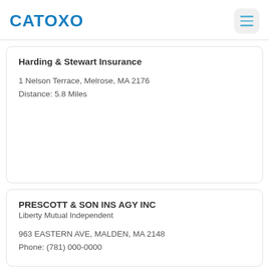CATOXO
Harding & Stewart Insurance
1 Nelson Terrace, Melrose, MA 2176
Distance: 5.8 Miles
PRESCOTT & SON INS AGY INC
Liberty Mutual Independent
963 EASTERN AVE, MALDEN, MA 2148